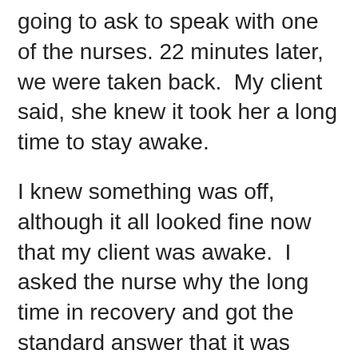going to ask to speak with one of the nurses. 22 minutes later, we were taken back.  My client said, she knew it took her a long time to stay awake.
I knew something was off, although it all looked fine now that my client was awake.  I asked the nurse why the long time in recovery and got the standard answer that it was normal.  The next nurse I asked the same question and she said well, it seems she got a lot of anesthesia.  I knew that but why?  The surgeon and anesthesiologist had been clear it was going to be the same amount.  Was there a problem?
I looked at the nurses notes by the bed and need for oxygen was noted as extended.  The anesthesia notes were not there.  No more clues.  My client took a long time to get going and it was over four hours before she left.